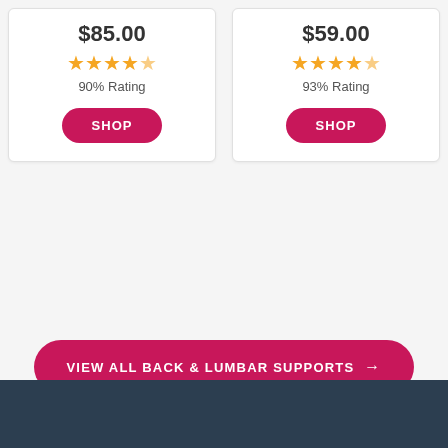$85.00
[Figure (other): Star rating: 4.5 out of 5 stars (yellow stars)]
90% Rating
SHOP
$59.00
[Figure (other): Star rating: 4.5 out of 5 stars (yellow stars)]
93% Rating
SHOP
VIEW ALL BACK & LUMBAR SUPPORTS →